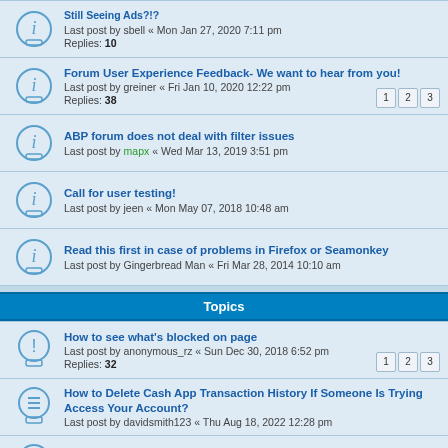Still Seeing Ads?!? - Last post by sbell « Mon Jan 27, 2020 7:11 pm - Replies: 10
Forum User Experience Feedback- We want to hear from you! - Last post by greiner « Fri Jan 10, 2020 12:22 pm - Replies: 38
ABP forum does not deal with filter issues - Last post by mapx « Wed Mar 13, 2019 3:51 pm
Call for user testing! - Last post by jeen « Mon May 07, 2018 10:48 am
Read this first in case of problems in Firefox or Seamonkey - Last post by Gingerbread Man « Fri Mar 28, 2014 10:10 am
Topics
How to see what's blocked on page - Last post by anonymous_rz « Sun Dec 30, 2018 6:52 pm - Replies: 32
How to Delete Cash App Transaction History If Someone Is Trying Access Your Account? - Last post by davidsmith123 « Thu Aug 18, 2022 12:28 pm
BUG on reporting option - Last post by DaNTaF « Thu Aug 18, 2022 8:39 am
Can I Recover A Forgotten Cash App Password Through